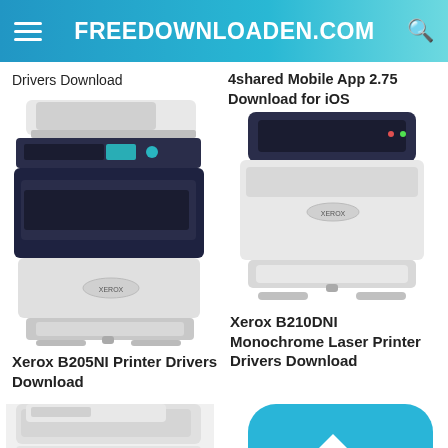FREEDOWNLOADEN.COM
Drivers Download
4shared Mobile App 2.75 Download for iOS
[Figure (photo): Xerox B205NI multifunction printer, white and dark navy color, front-angle view]
[Figure (photo): Xerox B210DNI monochrome laser printer, white with dark navy top, front-angle view]
Xerox B205NI Printer Drivers Download
Xerox B210DNI Monochrome Laser Printer Drivers Download
[Figure (photo): Xerox B405 multifunction printer, partially visible, bottom of page]
[Figure (illustration): Blue rounded square app icon with white arrow/chevron, partially visible at bottom right]